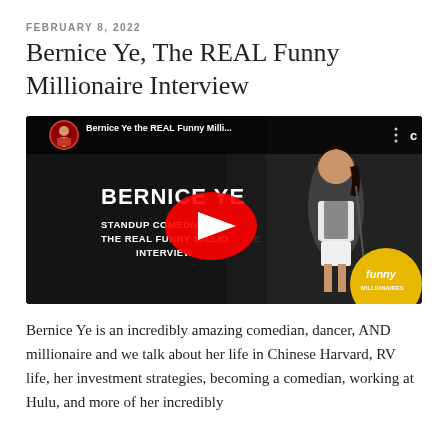FEBRUARY 8, 2022
Bernice Ye, The REAL Funny Millionaire Interview
[Figure (screenshot): YouTube video thumbnail showing Bernice Ye, a standup comedian, with text 'Bernice Ye the REAL Funny Milli...' in the YouTube player interface. The thumbnail shows Bernice Ye on stage with text 'BERNICE YE', 'STANDUP COMEDIAN, RV...', 'THE REAL FUNNY MILLIONAIRE INTERVIEW'. A red YouTube play button is centered on the thumbnail. A 'funny MILLIONAIRES' logo appears in bottom right corner.]
Bernice Ye is an incredibly amazing comedian, dancer, AND millionaire and we talk about her life in Chinese Harvard, RV life, her investment strategies, becoming a comedian, working at Hulu, and more of her incredibly